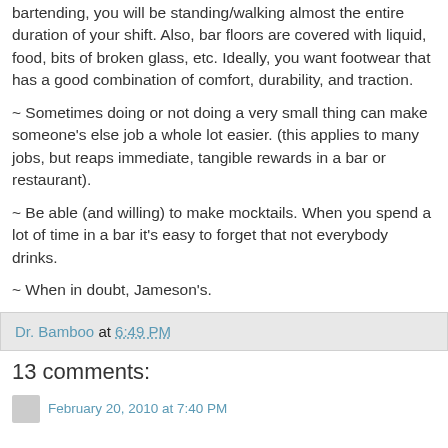bartending, you will be standing/walking almost the entire duration of your shift. Also, bar floors are covered with liquid, food, bits of broken glass, etc. Ideally, you want footwear that has a good combination of comfort, durability, and traction.
~ Sometimes doing or not doing a very small thing can make someone's else job a whole lot easier. (this applies to many jobs, but reaps immediate, tangible rewards in a bar or restaurant).
~ Be able (and willing) to make mocktails. When you spend a lot of time in a bar it's easy to forget that not everybody drinks.
~ When in doubt, Jameson's.
Dr. Bamboo at 6:49 PM
13 comments:
February 20, 2010 at 7:40 PM